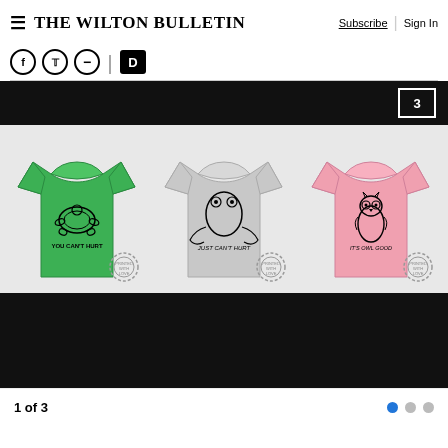The Wilton Bulletin | Subscribe | Sign In
[Figure (screenshot): Social media sharing icons: Facebook, Twitter, minus/share, and a black Dailymotion or branding icon]
[Figure (photo): Slideshow of three t-shirts: green t-shirt with turtle graphic and 'YOU CAN'T HURT' text, grey t-shirt with frog graphic and 'JUST CAN'T HURT' text, pink t-shirt with owl graphic and 'IT'S OWL GOOD' text. Slide counter '3' visible in top right. All shirts have circular stamp badge watermarks.]
1 of 3
[Figure (infographic): Pagination dots: one blue filled dot and two grey dots indicating slide 1 of 3]